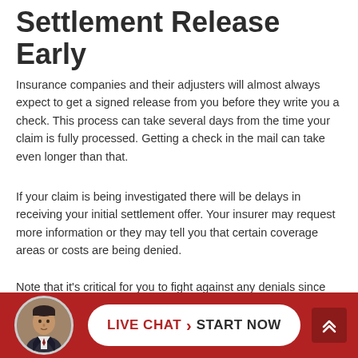Settlement Release Early
Insurance companies and their adjusters will almost always expect to get a signed release from you before they write you a check. This process can take several days from the time your claim is fully processed. Getting a check in the mail can take even longer than that.
If your claim is being investigated there will be delays in receiving your initial settlement offer. Your insurer may request more information or they may tell you that certain coverage areas or costs are being denied.
Note that it's critical for you to fight against any denials since insurers often misinterpret the language of their own policies to their financial advantage. An experienced Long Island car accident lawyer can help you in these situations.
[Figure (infographic): Footer bar with red background showing a circular avatar photo of a man in a suit, a white pill-shaped live chat button with 'LIVE CHAT > START NOW' text in red and black, and a dark red scroll-to-top button with double chevron arrows.]